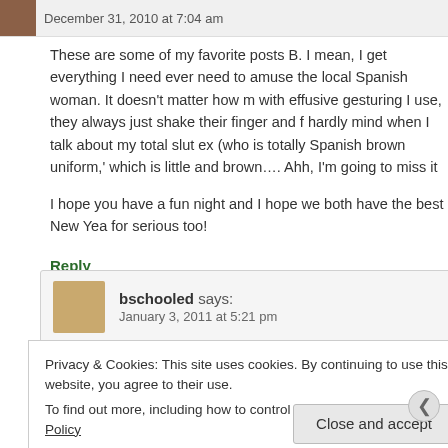December 31, 2010 at 7:04 am
These are some of my favorite posts B. I mean, I get everything I need ever need to amuse the local Spanish woman. It doesn't matter how m with effusive gesturing I use, they always just shake their finger and f hardly mind when I talk about my total slut ex (who is totally Spanish brown uniform,' which is little and brown.... Ahh, I'm going to miss it
I hope you have a fun night and I hope we both have the best New Yea for serious too!
Reply
bschooled says:
January 3, 2011 at 5:21 pm
Privacy & Cookies: This site uses cookies. By continuing to use this website, you agree to their use.
To find out more, including how to control cookies, see here: Cookie Policy
Close and accept